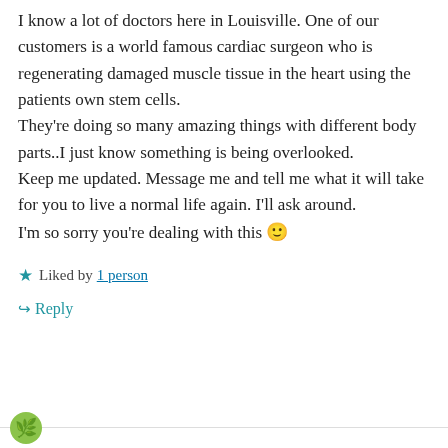I know a lot of doctors here in Louisville. One of our customers is a world famous cardiac surgeon who is regenerating damaged muscle tissue in the heart using the patients own stem cells.
They're doing so many amazing things with different body parts..I just know something is being overlooked.
Keep me updated. Message me and tell me what it will take for you to live a normal life again. I'll ask around.
I'm so sorry you're dealing with this 🙂
★ Liked by 1 person
↪ Reply